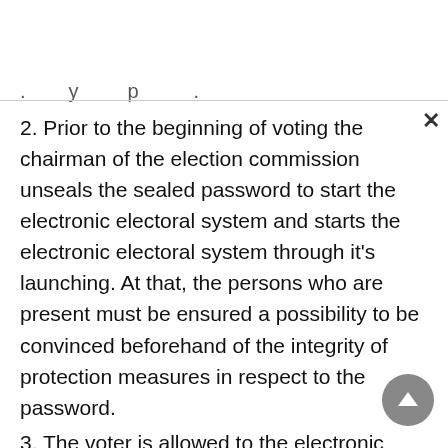. . . p . . . y . p . . . .
2. Prior to the beginning of voting the chairman of the election commission unseals the sealed password to start the electronic electoral system and starts the electronic electoral system through it's launching. At that, the persons who are present must be ensured a possibility to be convinced beforehand of the integrity of protection measures in respect to the password.
3. The voter is allowed to the electronic voting on the basis of the electoral registers on presentation of the document certificating the personality of the voter.
4. In case of voting outside the premise for voting